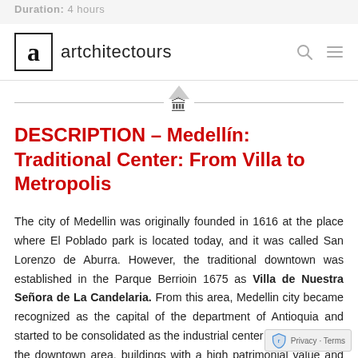Duration: 4 hours
[Figure (logo): Artchitectours logo: letter 'a' in bold black inside a square box, followed by text 'artchitectours' in sans-serif, with search and menu icons on the right.]
[Figure (illustration): Decorative divider with upward-pointing triangle and a classical building/bank icon (🏛), flanked by horizontal lines.]
DESCRIPTION – Medellín: Traditional Center: From Villa to Metropolis
The city of Medellin was originally founded in 1616 at the place where El Poblado park is located today, and it was called San Lorenzo de Aburra. However, the traditional downtown was established in the Parque Berrioin 1675 as Villa de Nuestra Señora de La Candelaria. From this area, Medellin city became recognized as the capital of the department of Antioquia and started to be consolidated as the industrial center of Colombia. In the downtown area, buildings with a high patrimonial value and great history are conserved.